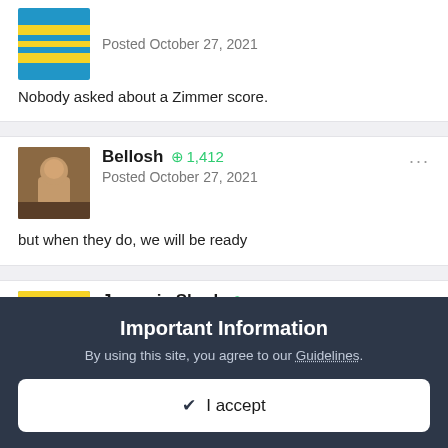Nobody asked about a Zimmer score.
Bellosh +1,412 Posted October 27, 2021
but when they do, we will be ready
Jurassic Shark +8,706 Posted October 27, 2021
Of course
Important Information
By using this site, you agree to our Guidelines.
✓ I accept